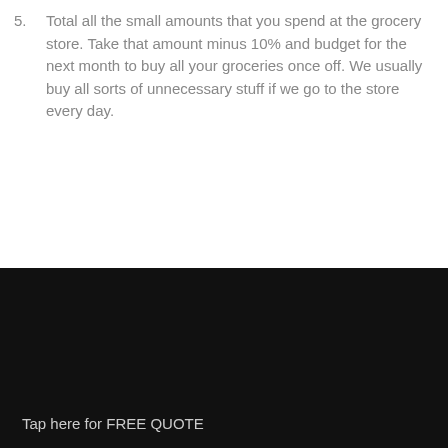5. Total all the small amounts that you spend at the grocery store. Take that amount minus 10% and budget for the next month to buy all your groceries once off. We usually buy all sorts of unnecessary stuff if we go to the store every day.
Tap here for FREE QUOTE